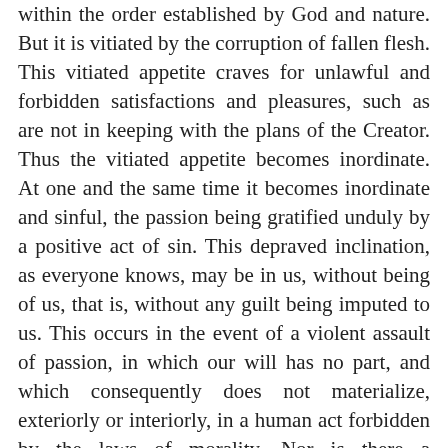within the order established by God and nature. But it is vitiated by the corruption of fallen flesh. This vitiated appetite craves for unlawful and forbidden satisfactions and pleasures, such as are not in keeping with the plans of the Creator. Thus the vitiated appetite becomes inordinate. At one and the same time it becomes inordinate and sinful, the passion being gratified unduly by a positive act of sin. This depraved inclination, as everyone knows, may be in us, without being of us, that is, without any guilt being imputed to us. This occurs in the event of a violent assault of passion, in which our will has no part, and which consequently does not materialize, exteriorly or interiorly, in a human act forbidden by the laws of morality. Nor is there a transgression, even when gratified, if reason and faith control the inclination and direct it along the lines laid down by the divine and natural laws. Outside of this all